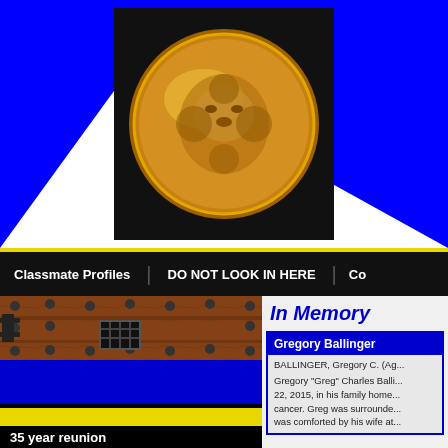[Figure (photo): Gold coin with lion/tiger face embossed on it, on black background, centered in header with blue diagonal stripes on either side]
Classmate Profiles | DO NOT LOOK IN HERE | Co...
[Figure (photo): Old rustic wooden door with iron rivets, hinges, and a small barred window/peephole]
In Memory
Gregory Ballinger
BALLINGER, Gregory C. (Ag...
Gregory “Greg” Charles Balli... 22, 2015, in his family home... cancer. Greg was surrounde... was comforted by his wife at...
35 year reunion
20 Year reunion